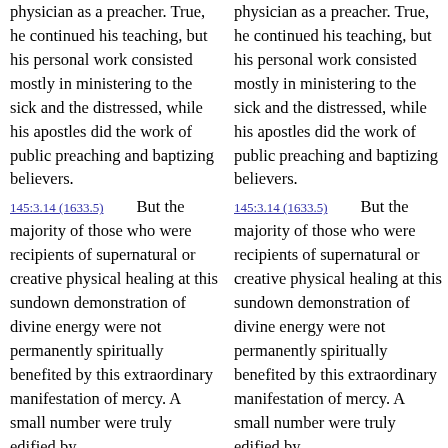physician as a preacher. True, he continued his teaching, but his personal work consisted mostly in ministering to the sick and the distressed, while his apostles did the work of public preaching and baptizing believers.
145:3.14 (1633.5)    But the majority of those who were recipients of supernatural or creative physical healing at this sundown demonstration of divine energy were not permanently spiritually benefited by this extraordinary manifestation of mercy. A small number were truly edified by
physician as a preacher. True, he continued his teaching, but his personal work consisted mostly in ministering to the sick and the distressed, while his apostles did the work of public preaching and baptizing believers.
145:3.14 (1633.5)    But the majority of those who were recipients of supernatural or creative physical healing at this sundown demonstration of divine energy were not permanently spiritually benefited by this extraordinary manifestation of mercy. A small number were truly edified by